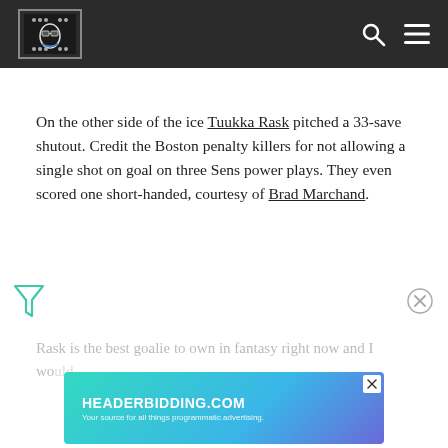[Site logo / navigation header]
On the other side of the ice Tuukka Rask pitched a 33-save shutout. Credit the Boston penalty killers for not allowing a single shot on goal on three Sens power plays. They even scored one short-handed, courtesy of Brad Marchand.
[Figure (other): Advertisement banner for HEADERBIDDING.COM — Your source for all things programmatic advertising.]